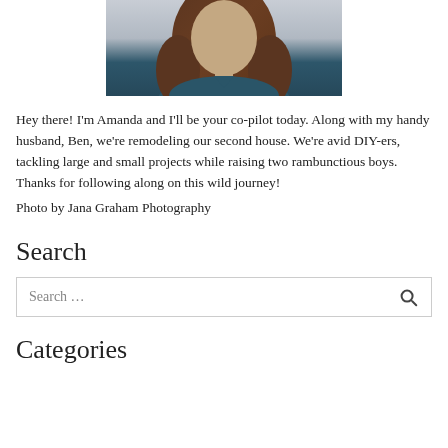[Figure (photo): Cropped portrait photo of a woman with long brown hair wearing a dark teal top, photographed from shoulders up against a light grey background.]
Hey there! I'm Amanda and I'll be your co-pilot today. Along with my handy husband, Ben, we're remodeling our second house. We're avid DIY-ers, tackling large and small projects while raising two rambunctious boys. Thanks for following along on this wild journey!
Photo by Jana Graham Photography
Search
Search …
Categories